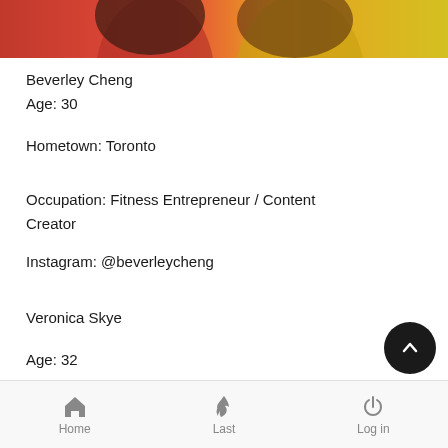[Figure (photo): Partial view of two women, one in red top and one in yellow top, photo cropped at the top]
Beverley Cheng
Age: 30
Hometown: Toronto
Occupation: Fitness Entrepreneur / Content Creator
Instagram: @beverleycheng
Veronica Skye
Age: 32
Hometown: Vancouver
Home   Last   Log in